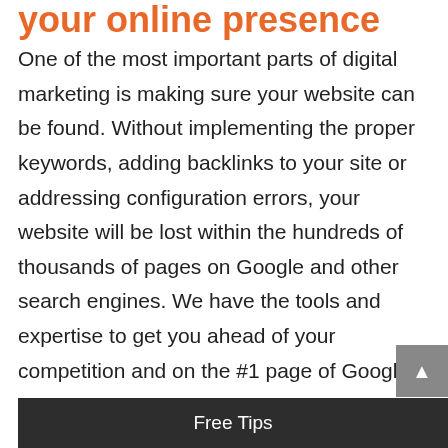your online presence
One of the most important parts of digital marketing is making sure your website can be found. Without implementing the proper keywords, adding backlinks to your site or addressing configuration errors, your website will be lost within the hundreds of thousands of pages on Google and other search engines. We have the tools and expertise to get you ahead of your competition and on the #1 page of Google.
Start your project analysis
Free Tips